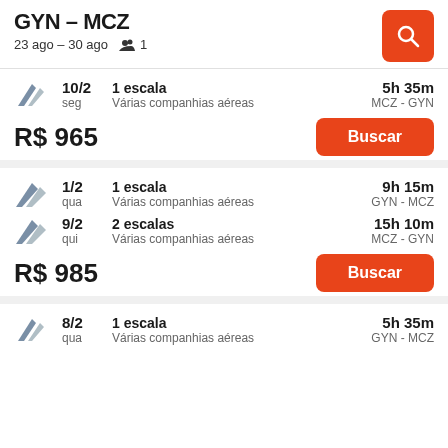GYN – MCZ
23 ago – 30 ago  👥 1
10/2 seg | 1 escala | Várias companhias aéreas | 5h 35m | MCZ - GYN
R$ 965
Buscar
1/2 qua | 1 escala | Várias companhias aéreas | 9h 15m | GYN - MCZ
9/2 qui | 2 escalas | Várias companhias aéreas | 15h 10m | MCZ - GYN
R$ 985
Buscar
8/2 qua | 1 escala | Várias companhias aéreas | 5h 35m | GYN - MCZ